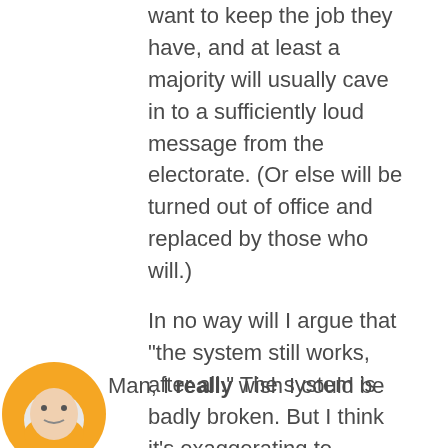want to keep the job they have, and at least a majority will usually cave in to a sufficiently loud message from the electorate. (Or else will be turned out of office and replaced by those who will.)
In no way will I argue that "the system still works, after all." The system is badly broken. But I think it's exaggerating to suggest that it's entirely nonfunctional, 100% of the time.
1:13 PM, January 18, 2012
Sean Kleefeld said...
Man, I really wish I could be